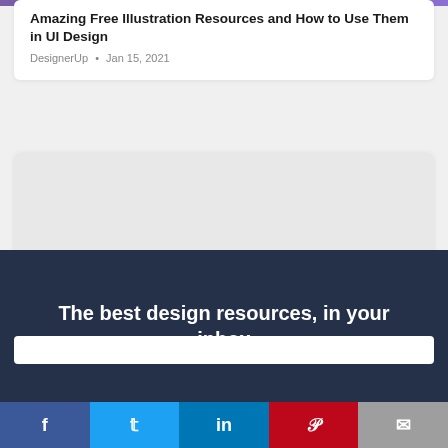Amazing Free Illustration Resources and How to Use Them in UI Design
DesignerUp • Jan 15, 2021
[Figure (photo): Card image placeholder for design careers article]
DESIGN CAREERS
The Power of Niching Down as a UI/UX Designer
Elizabeth Alli • Dec 17, 2020
The best design resources, in your inbox
Social share bar: Facebook, Twitter, LinkedIn, Pinterest, Email